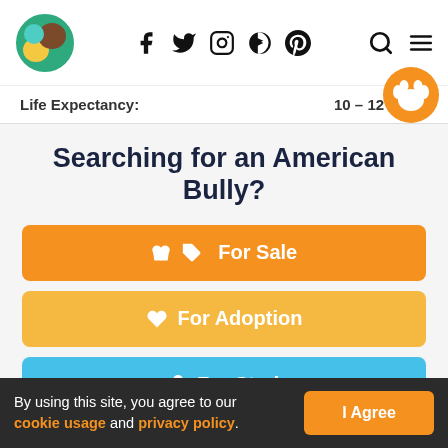Site header with logo, social icons (f, twitter, instagram, pinterest), search and menu icons
Life Expectancy: 10 – 12 Years
Searching for an American Bully?
For Sale
For Adoption
For Stud
By using this site, you agree to our cookie usage and privacy policy. | I Agree